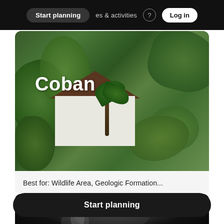Start planning  places & activities  Log in
[Figure (photo): Lush green jungle with white cottage building and fern trees, with 'Coban' title text overlaid]
Best for: Wildlife Area, Geologic Formation...
[Figure (photo): Dark cave interior with stalactites and heart/favorite icon]
Start planning